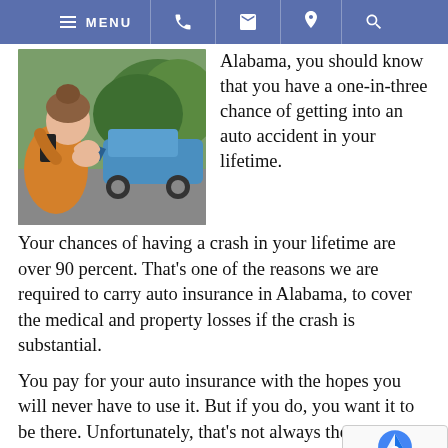MENU [phone] [mail] [location] [search]
[Figure (photo): Woman on phone in front of a car accident with a blue car damaged in the background]
Alabama, you should know that you have a one-in-three chance of getting into an auto accident in your lifetime.
Your chances of having a crash in your lifetime are over 90 percent. That’s one of the reasons we are required to carry auto insurance in Alabama, to cover the medical and property losses if the crash is substantial.
You pay for your auto insurance with the hopes you will never have to use it. But if you do, you want it to be there. Unfortunately, that’s not always the ca…
Insurers are profit-making entities. Therefore,